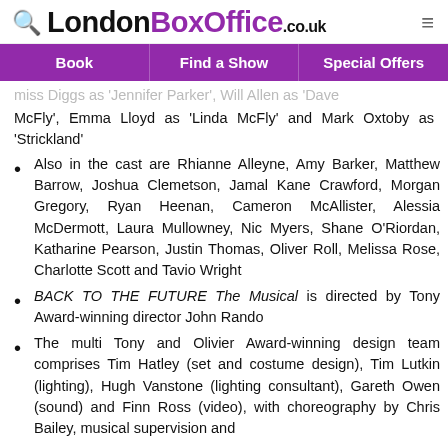LondonBoxOffice.co.uk
Book | Find a Show | Special Offers
McFly', Emma Lloyd as 'Linda McFly' and Mark Oxtoby as 'Strickland'
Also in the cast are Rhianne Alleyne, Amy Barker, Matthew Barrow, Joshua Clemetson, Jamal Kane Crawford, Morgan Gregory, Ryan Heenan, Cameron McAllister, Alessia McDermott, Laura Mullowney, Nic Myers, Shane O'Riordan, Katharine Pearson, Justin Thomas, Oliver Roll, Melissa Rose, Charlotte Scott and Tavio Wright
BACK TO THE FUTURE The Musical is directed by Tony Award-winning director John Rando
The multi Tony and Olivier Award-winning design team comprises Tim Hatley (set and costume design), Tim Lutkin (lighting), Hugh Vanstone (lighting consultant), Gareth Owen (sound) and Finn Ross (video), with choreography by Chris Bailey, musical supervision and